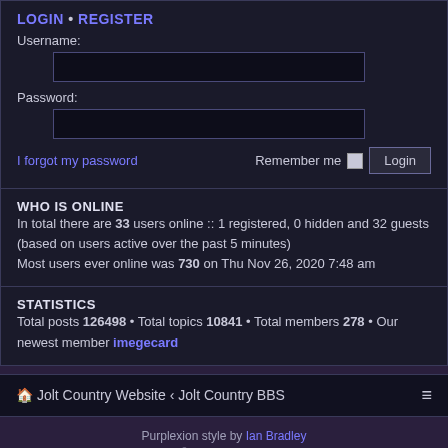LOGIN • REGISTER
Username:
Password:
I forgot my password    Remember me  Login
WHO IS ONLINE
In total there are 33 users online :: 1 registered, 0 hidden and 32 guests (based on users active over the past 5 minutes)
Most users ever online was 730 on Thu Nov 26, 2020 7:48 am
STATISTICS
Total posts 126498 • Total topics 10841 • Total members 278 • Our newest member imegecard
🏠 Jolt Country Website ‹ Jolt Country BBS
Purplexion style by Ian Bradley
Powered by phpBB® Forum Software © phpBB Limited
Privacy | Terms